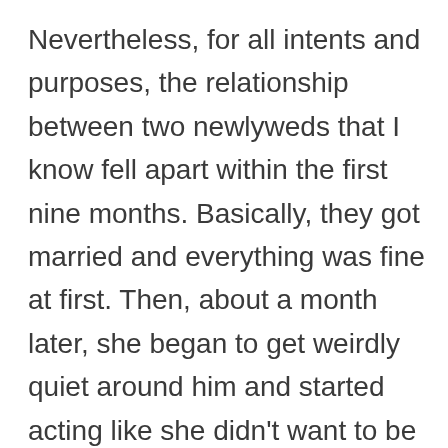Nevertheless, for all intents and purposes, the relationship between two newlyweds that I know fell apart within the first nine months. Basically, they got married and everything was fine at first. Then, about a month later, she began to get weirdly quiet around him and started acting like she didn't want to be with him after all.
One thing led to another and, a few months later, he told her that he now